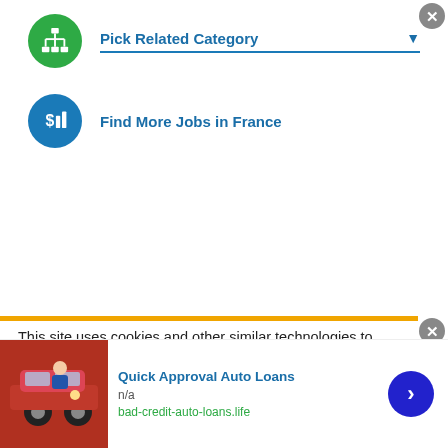Pick Related Category
Find More Jobs in France
This site uses cookies and other similar technologies to provide site functionality, analyze traffic and usage, and
Quick Approval Auto Loans
n/a
bad-credit-auto-loans.life